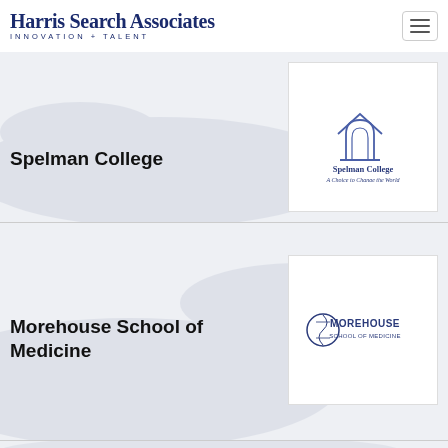Harris Search Associates INNOVATION + TALENT
Spelman College
[Figure (logo): Spelman College logo with building icon and tagline 'A Choice to Change the World']
Morehouse School of Medicine
[Figure (logo): Morehouse School of Medicine logo with circular emblem]